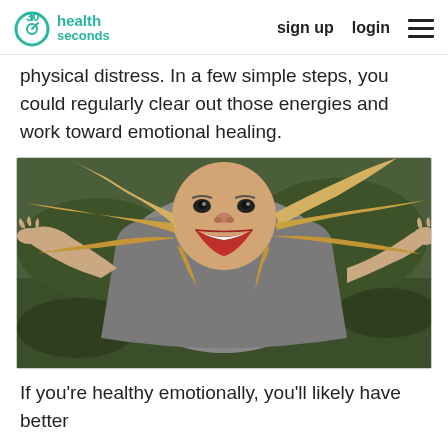30 seconds health | sign up  login
physical distress. In a few simple steps, you could regularly clear out those energies and work toward emotional healing.
[Figure (photo): Woman with blonde hair lying on grass, photographed from above with head upside-down, smiling broadly with red lips, wearing a grey top, arms spread out.]
If you're healthy emotionally, you'll likely have better